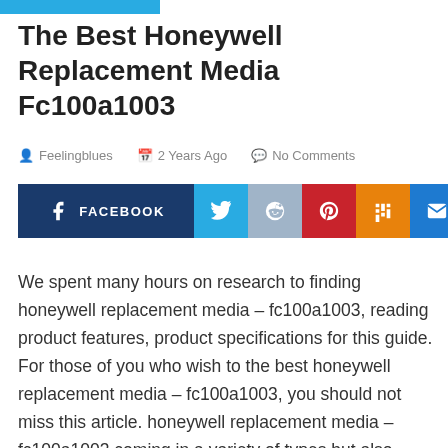The Best Honeywell Replacement Media Fc100a1003
Feelingblues   2 Years Ago   No Comments
[Figure (infographic): Social sharing buttons: Facebook, Twitter, Reddit, Pinterest, Mix, Email]
We spent many hours on research to finding honeywell replacement media – fc100a1003, reading product features, product specifications for this guide. For those of you who wish to the best honeywell replacement media – fc100a1003, you should not miss this article. honeywell replacement media – fc100a1003 coming in a variety of types but also different price range. The following is the top 10 honeywell replacement media – fc100a1003 by our